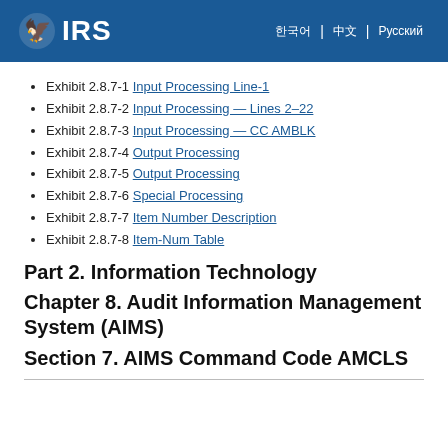IRS | navigation links
Exhibit 2.8.7-1  Input Processing Line-1
Exhibit 2.8.7-2  Input Processing — Lines 2–22
Exhibit 2.8.7-3  Input Processing — CC AMBLK
Exhibit 2.8.7-4  Output Processing
Exhibit 2.8.7-5  Output Processing
Exhibit 2.8.7-6  Special Processing
Exhibit 2.8.7-7  Item Number Description
Exhibit 2.8.7-8  Item-Num Table
Part 2. Information Technology
Chapter 8. Audit Information Management System (AIMS)
Section 7. AIMS Command Code AMCLS